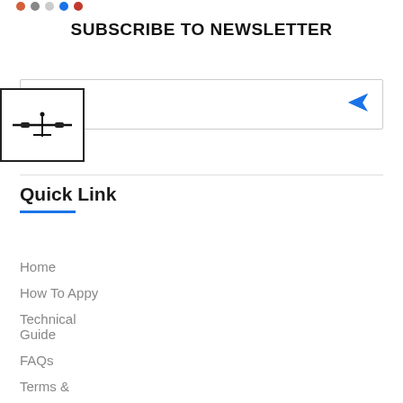[Figure (other): Small colored dots (social media icons) at top left]
SUBSCRIBE TO NEWSLETTER
[Figure (other): Email input field with placeholder text 'mail' and a blue paper plane send icon on the right]
[Figure (logo): Aviation/airplane logo in a black bordered box on the left side]
Quick Link
Home
How To Appy
Technical Guide
FAQs
Terms &